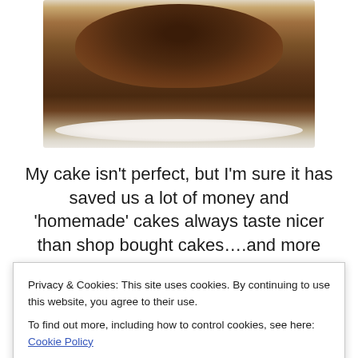[Figure (photo): Top-down photo of a round homemade chocolate cake on a white plate, showing a dark brown domed top.]
My cake isn't perfect, but I'm sure it has saved us a lot of money and 'homemade' cakes always taste nicer than shop bought cakes….and more importantly, my daughter loved it (thank goodness).
[Figure (photo): Photo showing a single red birthday candle on a light background, partially visible.]
Privacy & Cookies: This site uses cookies. By continuing to use this website, you agree to their use.
To find out more, including how to control cookies, see here: Cookie Policy
Close and accept